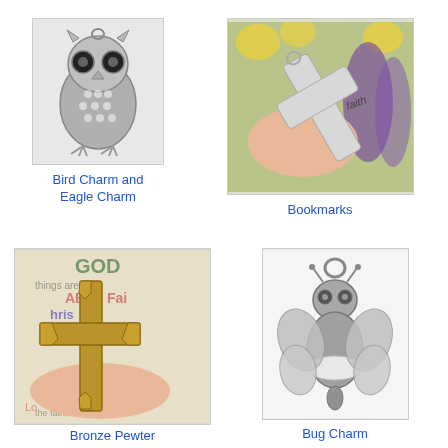[Figure (photo): Silver owl charm figurine]
Bird Charm and Eagle Charm
[Figure (photo): Hand holding a cross bookmark with 'faith' engraved, with flowers in background]
Bookmarks
[Figure (photo): Hand holding a bronze pewter cross charm with decorative ends, on colorful scripture background]
Bronze Pewter
[Figure (photo): Silver bug/bee charm with wings]
Bug Charm